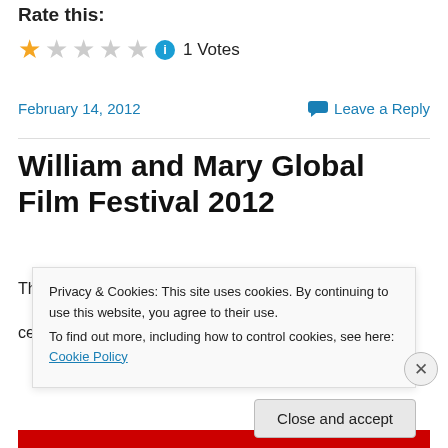Rate this:
[Figure (other): Star rating: 1 out of 5 stars filled (yellow), 4 empty (grey), info icon, 1 Votes]
February 14, 2012
Leave a Reply
William and Mary Global Film Festival 2012
The William and Mary Global Film Festival (WMGFF)
celebrates its fifth anniversary Feb. 16-19, 2012 with the
Privacy & Cookies: This site uses cookies. By continuing to use this website, you agree to their use.
To find out more, including how to control cookies, see here: Cookie Policy
Close and accept